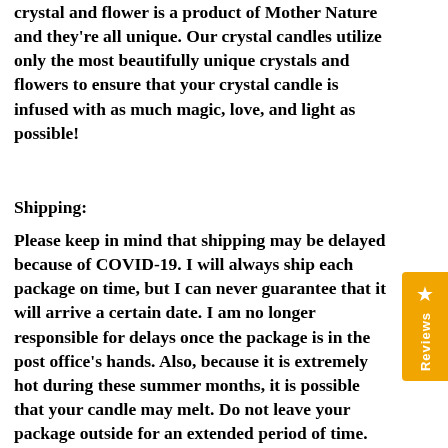crystal and flower is a product of Mother Nature and they're all unique. Our crystal candles utilize only the most beautifully unique crystals and flowers to ensure that your crystal candle is infused with as much magic, love, and light as possible!
Shipping:
Please keep in mind that shipping may be delayed because of COVID-19. I will always ship each package on time, but I can never guarantee that it will arrive a certain date. I am no longer responsible for delays once the package is in the post office's hands. Also, because it is extremely hot during these summer months, it is possible that your candle may melt. Do not leave your package outside for an extended period of time. The candles may melt and the herbs, flowers,